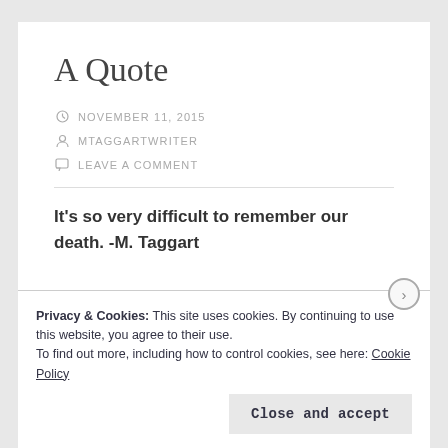A Quote
NOVEMBER 11, 2015
MTAGGARTWRITER
LEAVE A COMMENT
It's so very difficult to remember our death.  -M. Taggart
Privacy & Cookies: This site uses cookies. By continuing to use this website, you agree to their use.
To find out more, including how to control cookies, see here: Cookie Policy
Close and accept